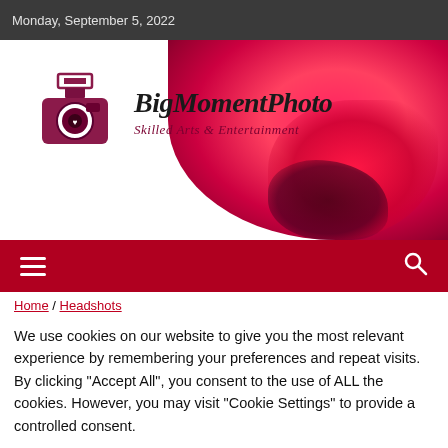Monday, September 5, 2022
[Figure (screenshot): BigMomentPhoto website header with camera logo, brand name, tagline 'Skilled Arts & Entertainment', and red rose/flower photo background]
[Figure (screenshot): Red navigation bar with hamburger menu icon on left and search icon on right]
Home / Headshots
We use cookies on our website to give you the most relevant experience by remembering your preferences and repeat visits. By clicking "Accept All", you consent to the use of ALL the cookies. However, you may visit "Cookie Settings" to provide a controlled consent.
Cookie Settings | Accept All